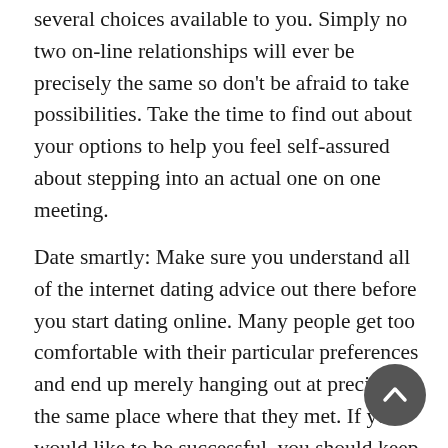several choices available to you. Simply no two on-line relationships will ever be precisely the same so don't be afraid to take possibilities. Take the time to find out about your options to help you feel self-assured about stepping into an actual one on one meeting.
Date smartly: Make sure you understand all of the internet dating advice out there before you start dating online. Many people get too comfortable with their particular preferences and end up merely hanging out at precisely the same place where that they met. If you would like to be successful, you should keep on learning. You should also ensure that you have your own interests and hobbies which will help you in your quest.